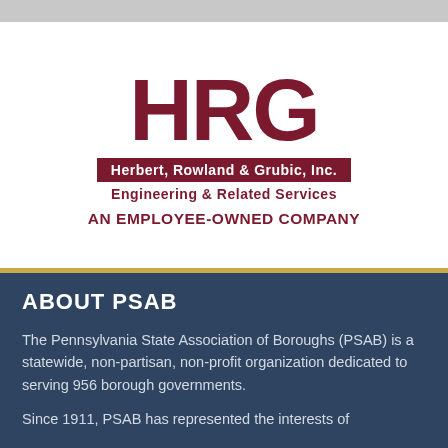[Figure (logo): HRG - Herbert, Rowland & Grubic, Inc. Engineering & Related Services. An Employee-Owned Company. Logo with large red HRG letters, company name in white on dark red background, taglines in dark red below.]
ABOUT PSAB
The Pennsylvania State Association of Boroughs (PSAB) is a statewide, non-partisan, non-profit organization dedicated to serving 956 borough governments.
Since 1911, PSAB has represented the interests of